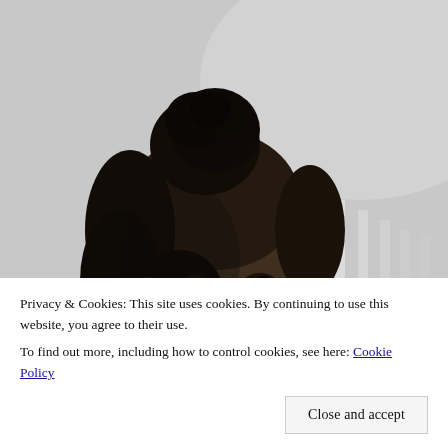[Figure (photo): Black and white photograph of a young toddler with curly hair in a bun, gazing to the left, seated near a white crib or chair.]
Privacy & Cookies: This site uses cookies. By continuing to use this website, you agree to their use.
To find out more, including how to control cookies, see here: Cookie Policy
Close and accept